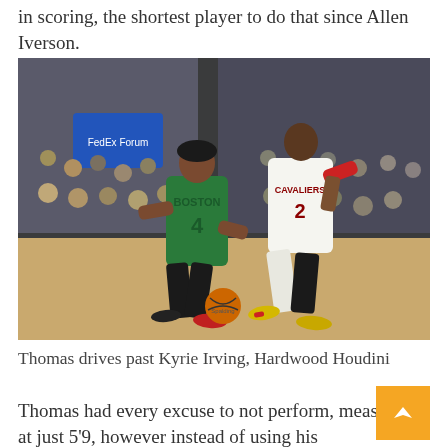in scoring, the shortest player to do that since Allen Iverson.
[Figure (photo): Isaiah Thomas (#4) in a Boston Celtics green jersey dribbling past Kyrie Irving in a Cleveland Cavaliers white jersey during an NBA game, with a crowd in the background.]
Thomas drives past Kyrie Irving, Hardwood Houdini
Thomas had every excuse to not perform, measuring at just 5'9, however instead of using his